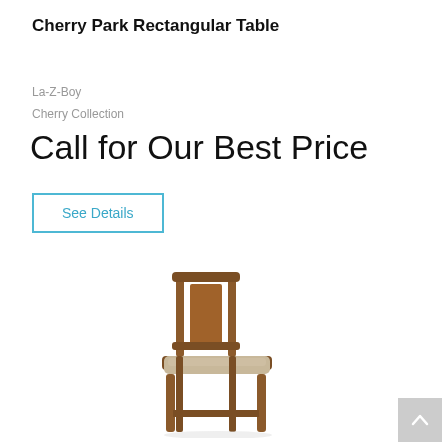Cherry Park Rectangular Table
La-Z-Boy
Cherry Collection
Call for Our Best Price
See Details
[Figure (photo): A wooden dining chair with a high slatted back and a light upholstered seat, shown on a white background. Medium brown wood finish.]